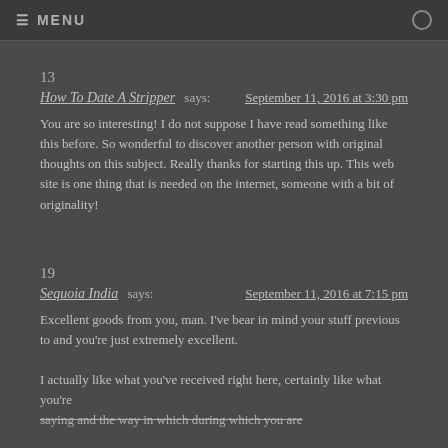≡ MENU
13
How To Date A Stripper says: September 11, 2016 at 3:30 pm
You are so interesting! I do not suppose I have read something like this before. So wonderful to discover another person with original thoughts on this subject. Really thanks for starting this up. This web site is one thing that is needed on the internet, someone with a bit of originality!
19
Sequoia India says: September 11, 2016 at 7:15 pm
Excellent goods from you, man. I've bear in mind your stuff previous to and you're just extremely excellent.

I actually like what you've received right here, certainly like what you're
saying and the way in which during which you are...